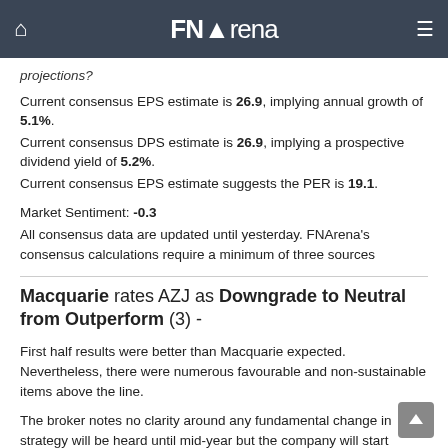FNArena
projections?
Current consensus EPS estimate is 26.9, implying annual growth of 5.1%. Current consensus DPS estimate is 26.9, implying a prospective dividend yield of 5.2%. Current consensus EPS estimate suggests the PER is 19.1.
Market Sentiment: -0.3
All consensus data are updated until yesterday. FNArena's consensus calculations require a minimum of three sources
Macquarie rates AZJ as Downgrade to Neutral from Outperform (3) -
First half results were better than Macquarie expected. Nevertheless, there were numerous favourable and non-sustainable items above the line.
The broker notes no clarity around any fundamental change in strategy will be heard until mid-year but the company will start executing on items such as reducing capital expenditure and re-pricing a